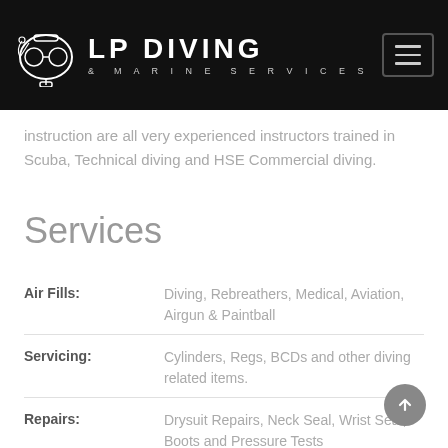LP DIVING & MARINE SERVICES
instruction are all very experienced instructors trained in Scuba, Technical diving and HSE Commercial diving.
Services
Air Fills: Diving, Rebreathers, Medical, Aviation, Airgun & Paintball
Servicing: Cylinders, Regs, BCDs and other diving related items.
Repairs: Drysuit Repairs, Neck Seal, Wrist Seal, Boots and Pressure Tests